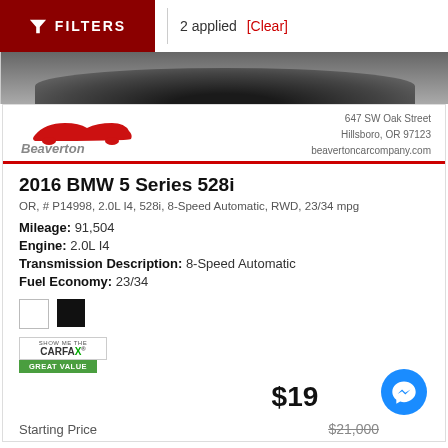FILTERS | 2 applied [Clear]
[Figure (photo): Partial car photo strip showing a dark vehicle hood/wheel from above]
[Figure (logo): Beaverton Car Company logo (red car silhouette with italic text)]
647 SW Oak Street
Hillsboro, OR 97123
beavertoncarcompany.com
2016 BMW 5 Series 528i
OR, # P14998, 2.0L I4, 528i, 8-Speed Automatic, RWD, 23/34 mpg
Mileage: 91,504
Engine: 2.0L I4
Transmission Description: 8-Speed Automatic
Fuel Economy: 23/34
[Figure (other): Two color swatches: white and black]
[Figure (other): CARFAX Show Me the CARFAX badge with GREAT VALUE label]
$19
Starting Price
$21,000